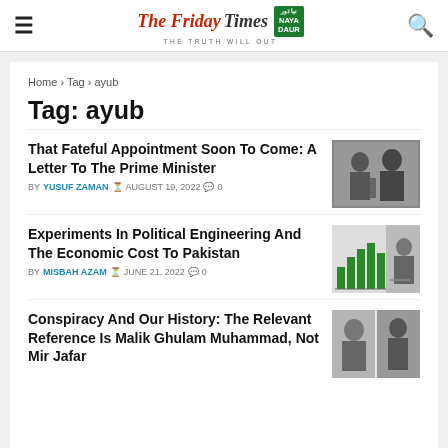The Friday Times | Naya Daur — THE TRUTH WILL OUT
Home > Tag > ayub
Tag: ayub
That Fateful Appointment Soon To Come: A Letter To The Prime Minister
BY YUSUF ZAMAN  AUGUST 19, 2022  0
[Figure (photo): Black and white historical photo of two men in conversation]
Experiments In Political Engineering And The Economic Cost To Pakistan
BY MISBAH AZAM  JUNE 21, 2022  0
[Figure (photo): Composite image of a bar chart and a man walking]
Conspiracy And Our History: The Relevant Reference Is Malik Ghulam Muhammad, Not Mir Jafar
[Figure (photo): Photos of two historical figures side by side]